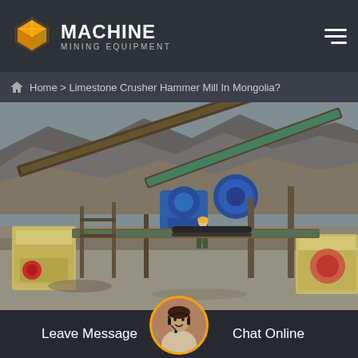[Figure (logo): Machine Mining Equipment logo with orange cube icon and white text]
Home > Limestone Crusher Hammer Mill In Mongolia?
[Figure (photo): Mining equipment facility showing conveyor belts, crushers, and heavy machinery at a quarry site with rocky terrain in the background]
Leave Message
Chat Online